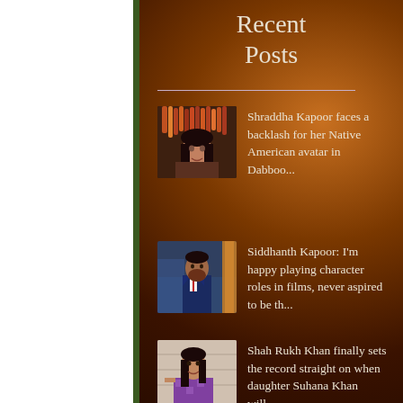Recent Posts
Shraddha Kapoor faces a backlash for her Native American avatar in Dabboo...
Siddhanth Kapoor: I'm happy playing character roles in films, never aspired to be th...
Shah Rukh Khan finally sets the record straight on when daughter Suhana Khan will...